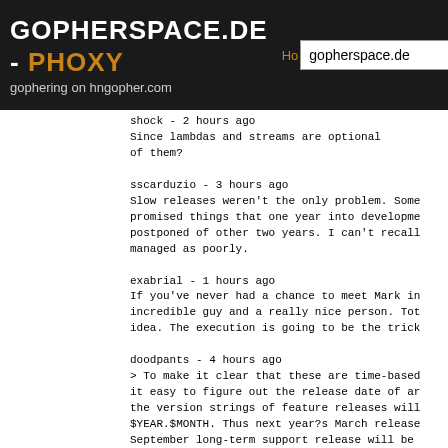GOPHERSPACE.DE - PHOXY | gophering on hngopher.com
shock - 2 hours ago
Since lambdas and streams are optional
of them?
sscarduzio - 3 hours ago
Slow releases weren't the only problem. Some
promised things that one year into developme
postponed of other two years. I can't recall
managed as poorly.
exabrial - 1 hours ago
If you've never had a chance to meet Mark in
incredible guy and a really nice person. Tot
idea. The execution is going to be the trick
doodpants - 4 hours ago
> To make it clear that these are time-based
it easy to figure out the release date of ar
the version strings of feature releases will
$YEAR.$MONTH. Thus next year?s March release
September long-term support release will be
version numbers be 2018.3 and 2018.9? Have w
the Y2K bug?
organsnyder - 2 hours ago
Only if the first number is constrained to